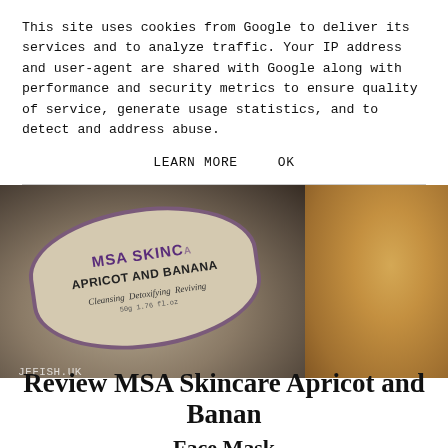This site uses cookies from Google to deliver its services and to analyze traffic. Your IP address and user-agent are shared with Google along with performance and security metrics to ensure quality of service, generate usage statistics, and to detect and address abuse.
LEARN MORE    OK
[Figure (photo): Close-up photo of MSA Skincare Apricot and Banana face mask jar lid on a wooden surface. The jar lid has a beige/kraft paper label with a purple border, showing 'MSA SKINCARE', 'APRICOT AND BANANA', 'Cleansing Detoxifying Reviving', with watermark 'JFFISH.UK' in bottom left corner.]
Review MSA Skincare Apricot and Banan Face Mask